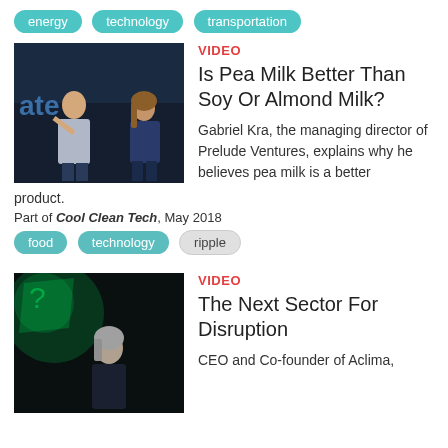energy  technology  transportation
[Figure (photo): Two people sitting on stage at a conference, one man gesturing while speaking, dark background with blue text]
VIDEO
Is Pea Milk Better Than Soy Or Almond Milk?
Gabriel Kra, the managing director of Prelude Ventures, explains why he believes pea milk is a better product.
Part of Cool Clean Tech, May 2018
food  technology  ripple
[Figure (photo): Woman with grey hair speaking on stage, dark background with green lighting]
VIDEO
The Next Sector For Disruption
CEO and Co-founder of Aclima,